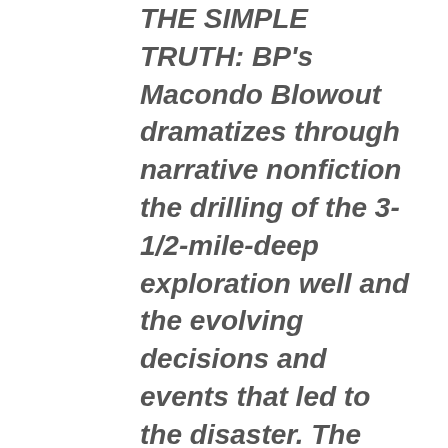THE SIMPLE TRUTH: BP's Macondo Blowout dramatizes through narrative nonfiction the drilling of the 3-1/2-mile-deep exploration well and the evolving decisions and events that led to the disaster. The story is structured around drilling data, federal and